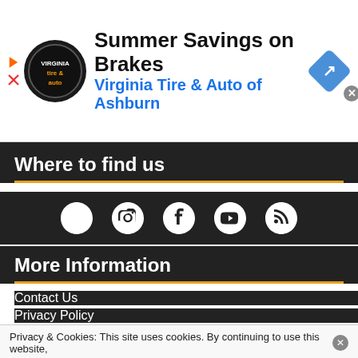[Figure (infographic): Top advertisement banner: Summer Savings on Brakes, Virginia Tire & Auto of Ashburn, with logo and navigation icon]
Where to find us
[Figure (infographic): Social media icons: Twitter, Instagram, Facebook, YouTube, RSS feed]
More Information
Contact Us
Privacy Policy
Privacy & Cookies: This site uses cookies. By continuing to use this website,
[Figure (infographic): Bottom advertisement: Frontgate SALES, 20% off sitewide plus free shipping from August 19-22, frontgate.com]